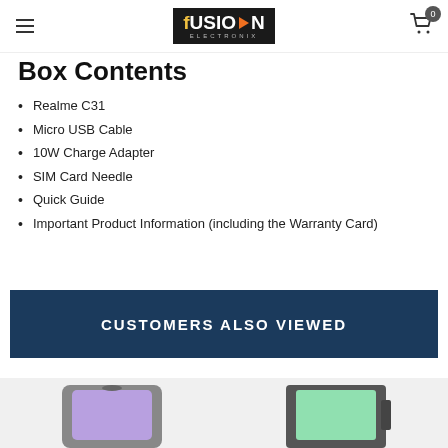Fusion Electronix header with menu and cart
Box Contents
Realme C31
Micro USB Cable
10W Charge Adapter
SIM Card Needle
Quick Guide
Important Product Information (including the Warranty Card)
CUSTOMERS ALSO VIEWED
[Figure (photo): Two product thumbnails partially visible at the bottom of the page]